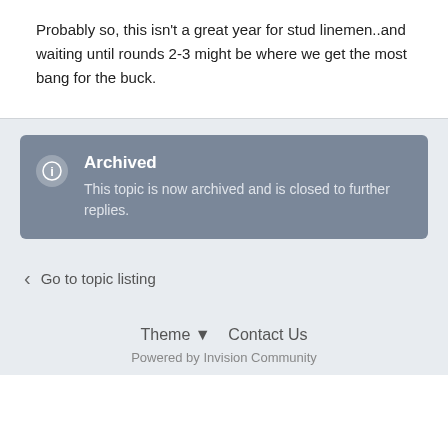Probably so, this isn't a great year for stud linemen..and waiting until rounds 2-3 might be where we get the most bang for the buck.
Archived
This topic is now archived and is closed to further replies.
Go to topic listing
Theme ▾  Contact Us  Powered by Invision Community